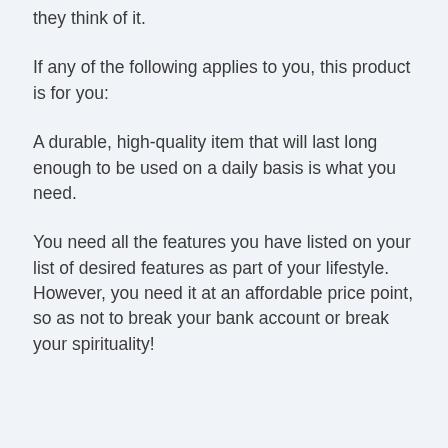they think of it.
If any of the following applies to you, this product is for you:
A durable, high-quality item that will last long enough to be used on a daily basis is what you need.
You need all the features you have listed on your list of desired features as part of your lifestyle. However, you need it at an affordable price point, so as not to break your bank account or break your spirituality!